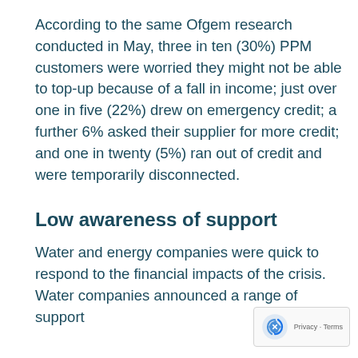According to the same Ofgem research conducted in May, three in ten (30%) PPM customers were worried they might not be able to top-up because of a fall in income; just over one in five (22%) drew on emergency credit; a further 6% asked their supplier for more credit; and one in twenty (5%) ran out of credit and were temporarily disconnected.
Low awareness of support
Water and energy companies were quick to respond to the financial impacts of the crisis. Water companies announced a range of support measures to be offered to...